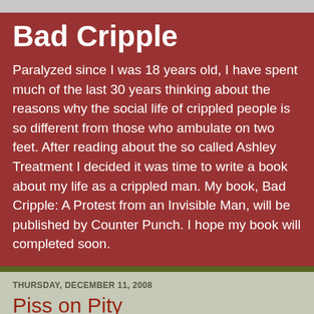Bad Cripple
Paralyzed since I was 18 years old, I have spent much of the last 30 years thinking about the reasons why the social life of crippled people is so different from those who ambulate on two feet. After reading about the so called Ashley Treatment I decided it was time to write a book about my life as a crippled man. My book, Bad Cripple: A Protest from an Invisible Man, will be published by Counter Punch. I hope my book will completed soon.
THURSDAY, DECEMBER 11, 2008
Piss on Pity
The Academy of Motion Picture Art and Science board of governors has voted to honor Jerry Lewis with a special Oscar for his humanitarian work. Academy president, Sid Ganis, has stated "Jerry is a legendary comedian who has